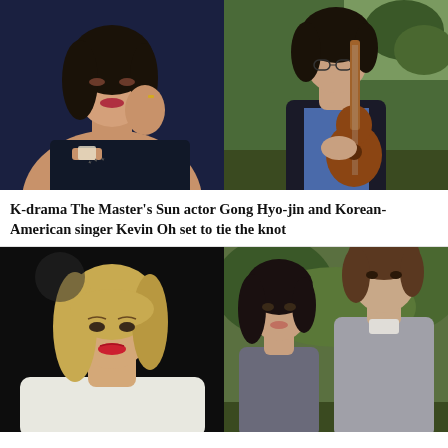[Figure (photo): Top row: two photos side by side. Left photo shows an Asian woman in a dark blue setting, wearing a watch and jewelry, posing elegantly. Right photo shows a young man with dark hair wearing a dark blazer holding a guitar outdoors.]
K-drama The Master’s Sun actor Gong Hyo-jin and Korean-American singer Kevin Oh set to tie the knot
[Figure (photo): Bottom row: two photos side by side. Left photo shows a blonde woman with red lipstick wearing a white outfit against a dark background. Right photo shows a young man and woman in an outdoor forest-like setting looking at each other.]